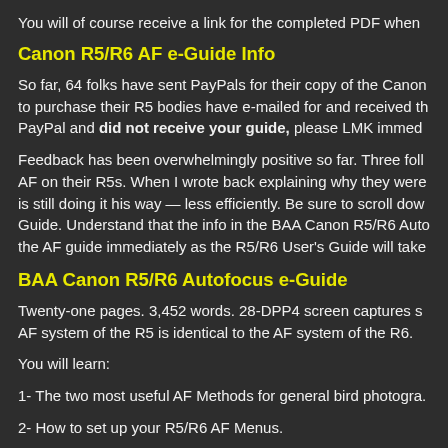You will of course receive a link for the completed PDF when
Canon R5/R6 AF e-Guide Info
So far, 64 folks have sent PayPals for their copy of the Canon to purchase their R5 bodies have e-mailed for and received th PayPal and did not receive your guide, please LMK immed
Feedback has been overwhelmingly positive so far. Three foll AF on their R5s. When I wrote back explaining why they were is still doing it his way — less efficiently. Be sure to scroll dow Guide. Understand that the info in the BAA Canon R5/R6 Aut the AF guide immediately as the R5/R6 User's Guide will take
BAA Canon R5/R6 Autofocus e-Guide
Twenty-one pages. 3,452 words. 28-DPP4 screen captures s AF system of the R5 is identical to the AF system of the R6.
You will learn:
1- The two most useful AF Methods for general bird photogra.
2- How to set up your R5/R6 AF Menus.